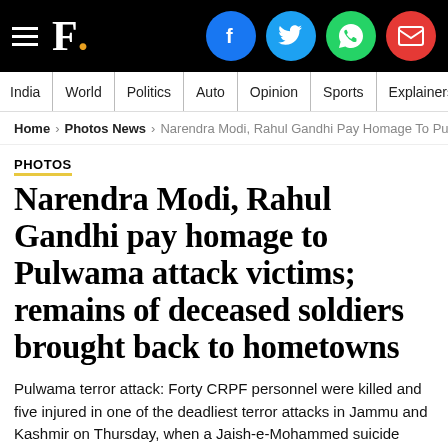F. [News website header with social icons: Facebook, Twitter, WhatsApp, Email]
India | World | Politics | Auto | Opinion | Sports | Explainers
Home > Photos News > Narendra Modi, Rahul Gandhi Pay Homage To Pulwa…
PHOTOS
Narendra Modi, Rahul Gandhi pay homage to Pulwama attack victims; remains of deceased soldiers brought back to hometowns
Pulwama terror attack: Forty CRPF personnel were killed and five injured in one of the deadliest terror attacks in Jammu and Kashmir on Thursday, when a Jaish-e-Mohammed suicide bomber rammed a vehicle carrying explosives into their bus